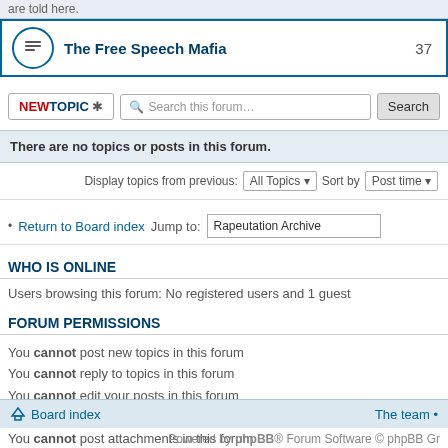are told here.
The Free Speech Mafia
37
NEWTOPIC ✱   Search this forum…   Search
There are no topics or posts in this forum.
Display topics from previous: All Topics ▾   Sort by   Post time ▾
Return to Board index  Jump to: Rapeutation Archive
WHO IS ONLINE
Users browsing this forum: No registered users and 1 guest
FORUM PERMISSIONS
You cannot post new topics in this forum
You cannot reply to topics in this forum
You cannot edit your posts in this forum
You cannot delete your posts in this forum
You cannot post attachments in this forum
Board index   The team •
Powered by phpBB® Forum Software © phpBB Gr